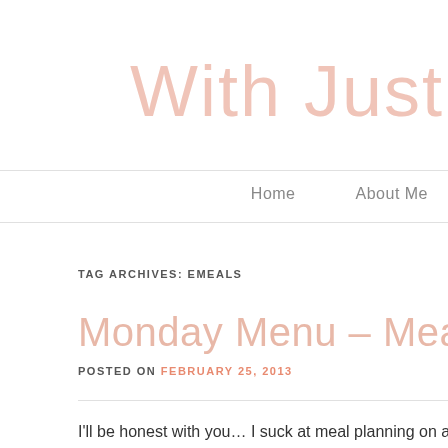With Just
Home   About Me
TAG ARCHIVES: EMEALS
Monday Menu – Meal Plannin
POSTED ON FEBRUARY 25, 2013
I'll be honest with you… I suck at meal planning on a regular ba